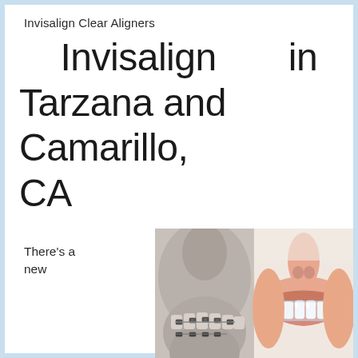Invisalign Clear Aligners
Invisalign in Tarzana and Camarillo, CA
There's a new
[Figure (photo): Split image showing traditional metal dental braces on a skull/jaw model on the left side, and a smiling person with white teeth wearing an Invisalign clear aligner on the right side.]